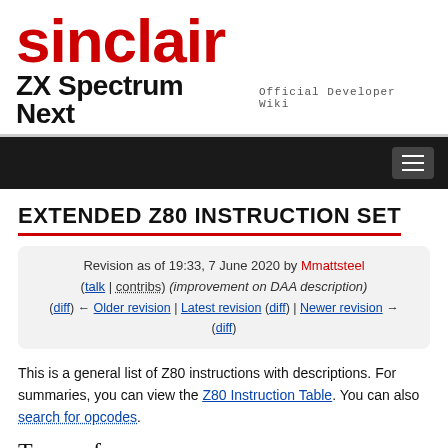[Figure (logo): Sinclair ZX Spectrum Next Official Developer Wiki logo header with red 'sinclair' text and black 'ZX Spectrum Next' title]
EXTENDED Z80 INSTRUCTION SET
Revision as of 19:33, 7 June 2020 by Mmattsteel (talk | contribs) (improvement on DAA description)
(diff) ← Older revision | Latest revision (diff) | Newer revision → (diff)
This is a general list of Z80 instructions with descriptions. For summaries, you can view the Z80 Instruction Table. You can also search for opcodes.
Term references
Any 8-bit register means A, B, C, D, E, H, and L. F, I and R do...